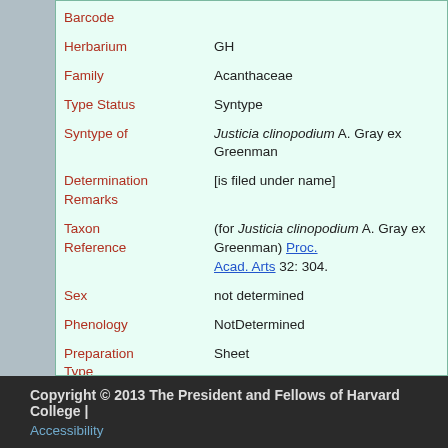| Field | Value |
| --- | --- |
| Barcode |  |
| Herbarium | GH |
| Family | Acanthaceae |
| Type Status | Syntype |
| Syntype of | Justicia clinopodium A. Gray ex Greenman |
| Determination Remarks | [is filed under name] |
| Taxon Reference | (for Justicia clinopodium A. Gray ex Greenman) Proc. Acad. Arts 32: 304. |
| Sex | not determined |
| Phenology | NotDetermined |
| Preparation Type | Sheet |
| Preparation Method | Pressed |
Copyright © 2013 The President and Fellows of Harvard College | Accessibility